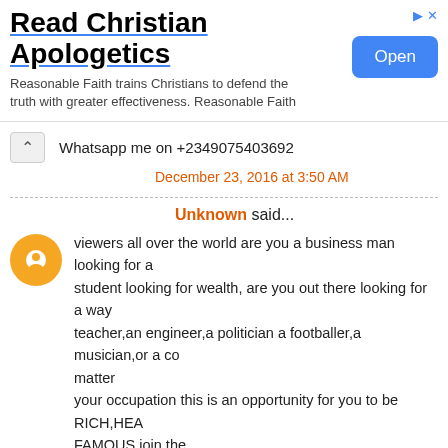[Figure (screenshot): Advertisement banner for Read Christian Apologetics with an Open button]
Whatsapp me on +2349075403692
December 23, 2016 at 3:50 AM
Unknown said...
viewers all over the world are you a business man looking for a student looking for wealth, are you out there looking for a way teacher,an engineer,a politician a footballer,a musician,or a co matter your occupation this is an opportunity for you to be RICH,HEA FAMOUS,join the illuminati brotherhood today and see yourself leave large and members should email; illuminatichurch66@gmail.com or whats app or call the illuminati agent on +2348169911981
December 23, 2016 at 9:56 PM